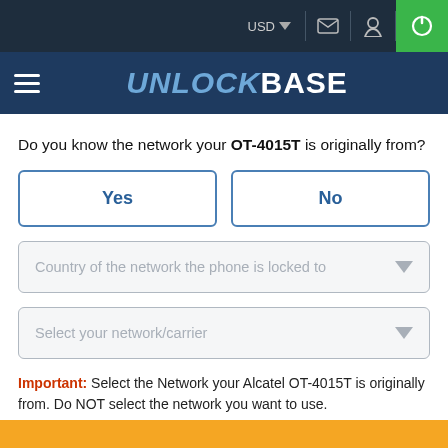USD   [mail icon] [location icon] [power icon]
UNLOCKBASE
Do you know the network your OT-4015T is originally from?
Yes
No
Country of the network the phone is locked to
Select your network/carrier
Important: Select the Network your Alcatel OT-4015T is originally from. Do NOT select the network you want to use.
I accept the Terms & Conditions